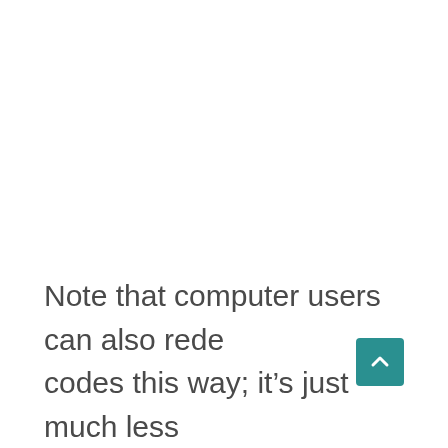Note that computer users can also redeem codes this way; it's just much less